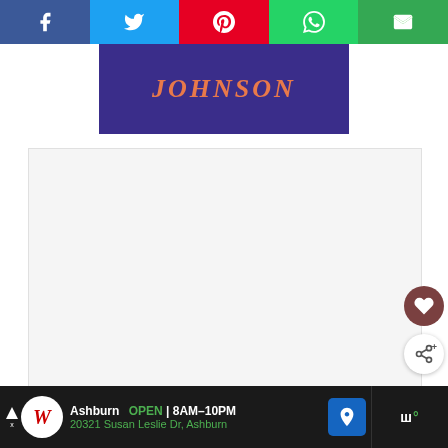[Figure (screenshot): Social media share bar with Facebook (blue), Twitter (light blue), Pinterest (red), WhatsApp (green), and Email (green) buttons]
[Figure (photo): Close-up of a sports jersey with 'JOHNSON' written in stylized orange cursive text on a dark blue/purple jersey background]
[Figure (screenshot): Large white/light gray content area placeholder box]
[Figure (screenshot): Walgreens advertisement bar at bottom: 'Ashburn OPEN | 8AM-10PM, 20321 Susan Leslie Dr, Ashburn' with Walgreens logo and navigation icon]